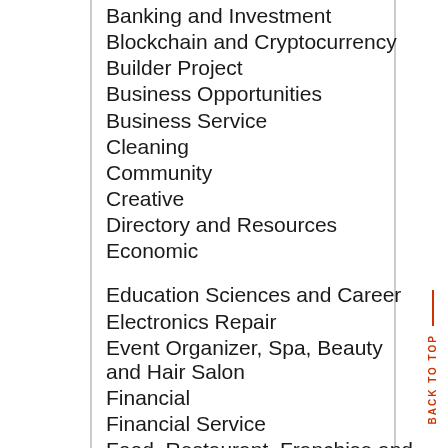Banking and Investment
Blockchain and Cryptocurrency
Builder Project
Business Opportunities
Business Service
Cleaning
Community
Creative
Directory and Resources
Economic
Education Sciences and Career
Electronics Repair
Event Organizer, Spa, Beauty and Hair Salon
Financial
Financial Service
Food, Restaurant, Franchise and Ritel
Furniture and Electronic